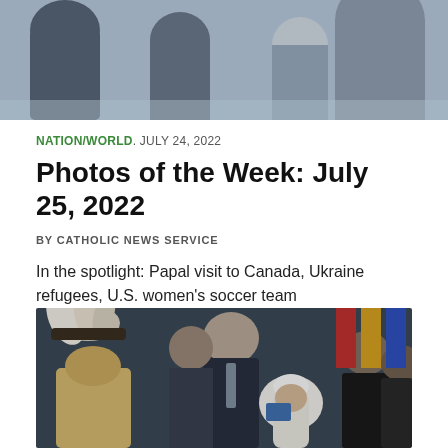[Figure (photo): Top photo showing people, partially cropped at the top of the page]
NATION/WORLD. JULY 24, 2022
Photos of the Week: July 25, 2022
BY CATHOLIC NEWS SERVICE
In the spotlight: Papal visit to Canada, Ukraine refugees, U.S. women's soccer team
[Figure (photo): Photo of Pope Francis receiving something from an Indigenous person wearing traditional headdress, with other officials present and flags in the background]